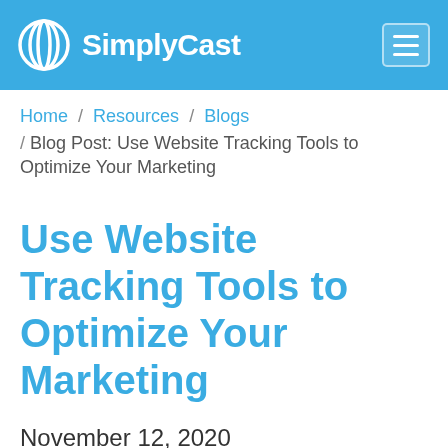SimplyCast
Home / Resources / Blogs / Blog Post: Use Website Tracking Tools to Optimize Your Marketing
Use Website Tracking Tools to Optimize Your Marketing
November 12, 2020